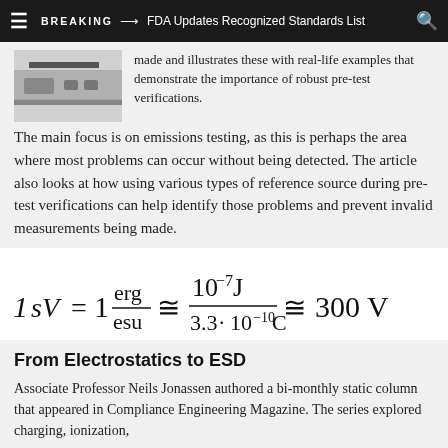BREAKING → FDA Updates Recognized Standards List
made and illustrates these with real-life examples that demonstrate the importance of robust pre-test verifications. The main focus is on emissions testing, as this is perhaps the area where most problems can occur without being detected. The article also looks at how using various types of reference source during pre-test verifications can help identify those problems and prevent invalid measurements being made.
From Electrostatics to ESD
Associate Professor Neils Jonassen authored a bi-monthly static column that appeared in Compliance Engineering Magazine. The series explored charging, ionization,